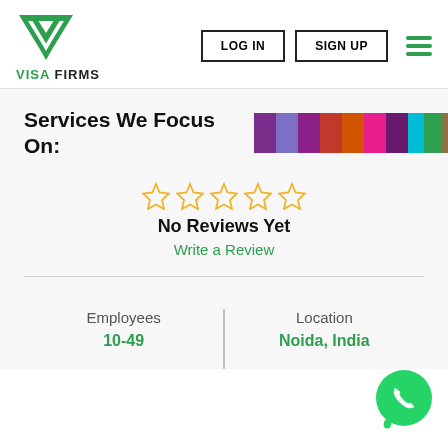[Figure (logo): Visa Firms logo: green downward-pointing chevron/shield icon with 'VISA FIRMS' text below, VISA in green and FIRMS in black]
LOG IN
SIGN UP
Services We Focus On:
[Figure (infographic): A row of colored blocks: purple, violet, dark purple, red, orange, pink, dark purple, cyan/teal, green, dark olive/brown]
No Reviews Yet
Write a Review
Employees
10-49
Location
Noida, India
[Figure (illustration): Green WhatsApp icon button in bottom-right corner]